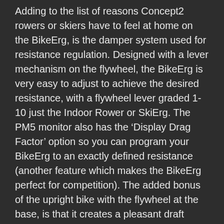Adding to the list of reasons Concept2 rowers or skiers have to feel at home on the BikeErg, is the damper system used for resistance regulation. Designed with a lever mechanism on the flywheel, the BikeErg is very easy to adjust to achieve the desired resistance, with a flywheel lever graded 1-10 just the Indoor Rower or SkiErg. The PM5 monitor also has the ‘Display Drag Factor’ option so you can program your BikeErg to an exactly defined resistance (another feature which makes the BikeErg perfect for competition). The added bonus of the upright bike with the flywheel at the base, is that it creates a pleasant draft while the flywheel is in motion, bringing some much-needed airflow to an indoor workout, and helping to keep you cool and comfortable on your ride.